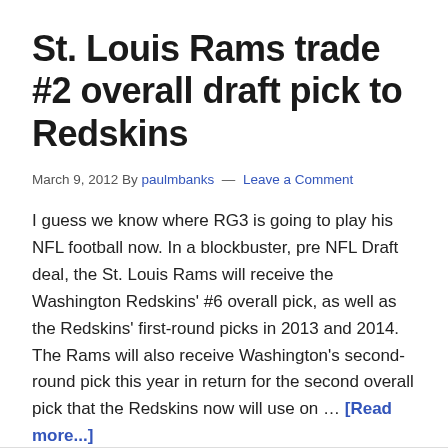St. Louis Rams trade #2 overall draft pick to Redskins
March 9, 2012 By paulmbanks — Leave a Comment
I guess we know where RG3 is going to play his NFL football now. In a blockbuster, pre NFL Draft deal, the St. Louis Rams will receive the Washington Redskins' #6 overall pick, as well as the Redskins' first-round picks in 2013 and 2014. The Rams will also receive Washington's second-round pick this year in return for the second overall pick that the Redskins now will use on … [Read more...]